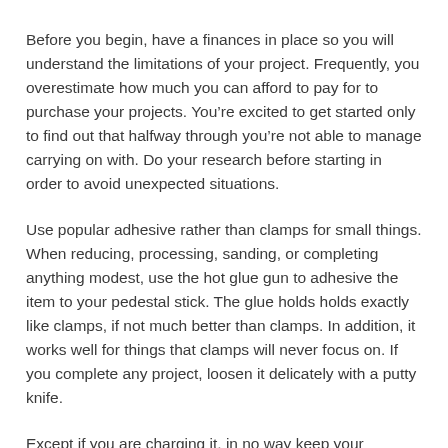Before you begin, have a finances in place so you will understand the limitations of your project. Frequently, you overestimate how much you can afford to pay for to purchase your projects. You’re excited to get started only to find out that halfway through you’re not able to manage carrying on with. Do your research before starting in order to avoid unexpected situations.
Use popular adhesive rather than clamps for small things. When reducing, processing, sanding, or completing anything modest, use the hot glue gun to adhesive the item to your pedestal stick. The glue holds holds exactly like clamps, if not much better than clamps. In addition, it works well for things that clamps will never focus on. If you complete any project, loosen it delicately with a putty knife.
Except if you are charging it, in no way keep your equipment plugged in and alone. Who knows who may approach your